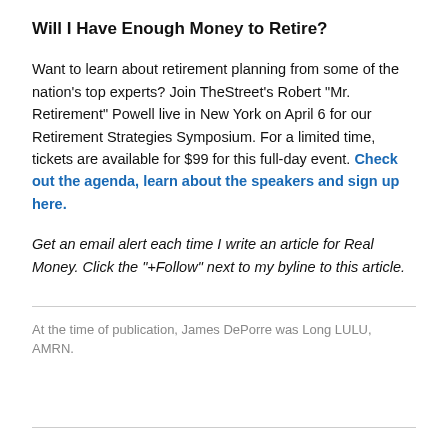Will I Have Enough Money to Retire?
Want to learn about retirement planning from some of the nation's top experts? Join TheStreet's Robert "Mr. Retirement" Powell live in New York on April 6 for our Retirement Strategies Symposium. For a limited time, tickets are available for $99 for this full-day event. Check out the agenda, learn about the speakers and sign up here.
Get an email alert each time I write an article for Real Money. Click the "+Follow" next to my byline to this article.
At the time of publication, James DePorre was Long LULU, AMRN.